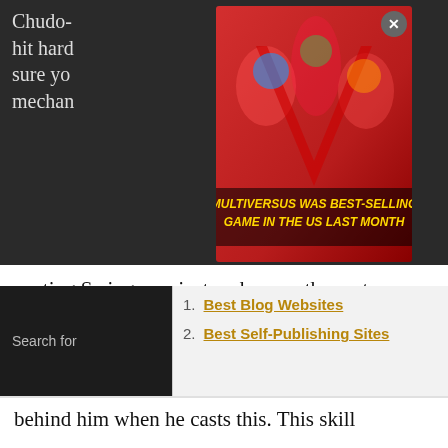Chudo-… t they hit hard… make sure yo… ain mechan… up casting Swinge, so just make sure the party positions themselves accordingly.
[Figure (screenshot): Advertisement overlay for MultiVersus game with text 'MULTIVERSUS WAS BEST-SELLING GAME IN THE US LAST MONTH' and a close button]
Lion's Breath (frontal cone fire attack): Make sure your tank faces away from the party, and also note that if your tank acts fast they can avoid this attack
Swinge (large frontal AoE cone):
Search for
1. Best Blog Websites
2. Best Self-Publishing Sites
behind him when he casts this. This skill